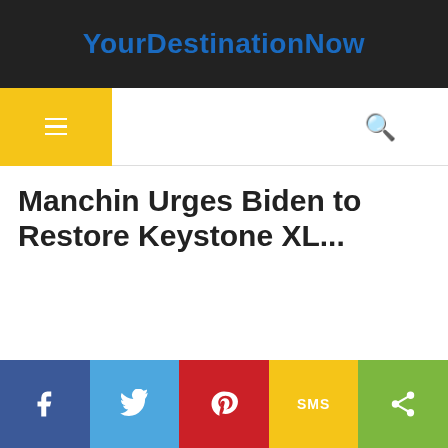YourDestinationNow
Manchin Urges Biden to Restore Keystone XL...
[Figure (screenshot): Website screenshot of YourDestinationNow with navigation hamburger menu, search icon, article title, and social sharing bar (Facebook, Twitter, Pinterest, SMS, Share)]